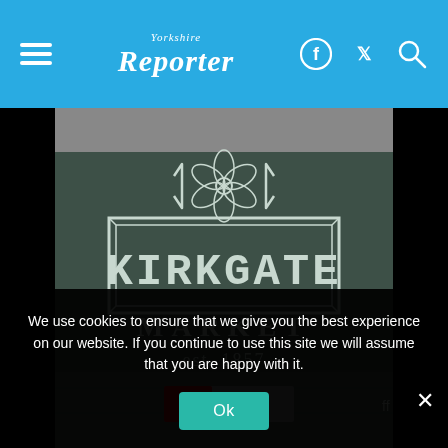Yorkshire Reporter
[Figure (photo): Photograph of Kirkgate Market sign painted on a dark green brick wall. The sign shows a Yorkshire rose emblem at the top, followed by 'KIRKGATE' in large block letters inside a rectangular border, 'MARKET' below, and 'est. 1857' underneath. A 'Discover' sign is partially visible at the bottom.]
We use cookies to ensure that we give you the best experience on our website. If you continue to use this site we will assume that you are happy with it.